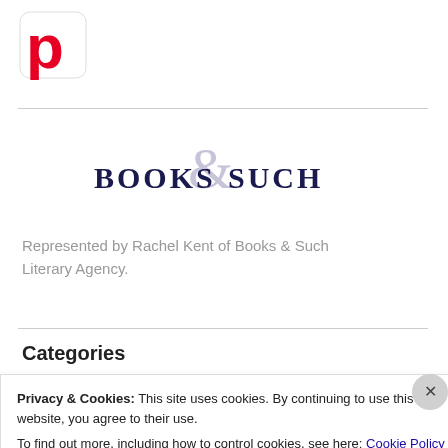[Figure (logo): Pinterest app logo icon — white background with red stylized 'p' letter]
[Figure (logo): Books & Such Literary Agency logo — serif text 'Books & Such' with decorative ampersand in blue-grey]
Represented by Rachel Kent of Books & Such Literary Agency.
Categories
Privacy & Cookies: This site uses cookies. By continuing to use this website, you agree to their use.
To find out more, including how to control cookies, see here: Cookie Policy
Close and accept